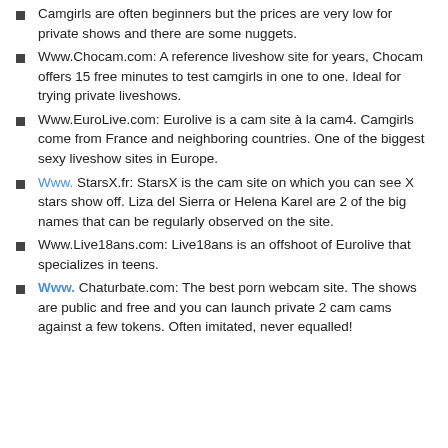Camgirls are often beginners but the prices are very low for private shows and there are some nuggets.
Www.Chocam.com: A reference liveshow site for years, Chocam offers 15 free minutes to test camgirls in one to one. Ideal for trying private liveshows.
Www.EuroLive.com: Eurolive is a cam site à la cam4. Camgirls come from France and neighboring countries. One of the biggest sexy liveshow sites in Europe.
Www. StarsX.fr: StarsX is the cam site on which you can see X stars show off. Liza del Sierra or Helena Karel are 2 of the big names that can be regularly observed on the site.
Www.Live18ans.com: Live18ans is an offshoot of Eurolive that specializes in teens.
Www. Chaturbate.com: The best porn webcam site. The shows are public and free and you can launch private 2 cam cams against a few tokens. Often imitated, never equalled!